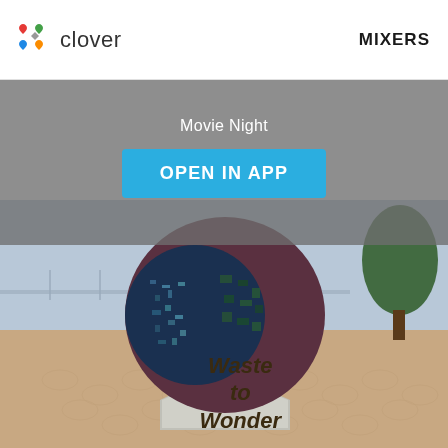clover   MIXERS
Movie Night
OPEN IN APP
[Figure (photo): Outdoor sculpture made from electronic waste (circuit boards, metal parts) mounted on a hexagonal concrete pedestal near a waterfront. Text on the base reads 'Waste to Wonder'.]
Waste to Wonder